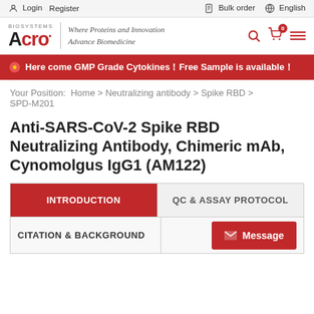Login  Register    Bulk order    English
[Figure (logo): Acro Biosystems logo with tagline 'Where Proteins and Innovation Advance Biomedicine']
Here come GMP Grade Cytokines！Free Sample is available！
Your Position:  Home  >  Neutralizing antibody  >  Spike RBD  >  SPD-M201
Anti-SARS-CoV-2 Spike RBD Neutralizing Antibody, Chimeric mAb, Cynomolgus IgG1 (AM122)
INTRODUCTION
QC & ASSAY PROTOCOL
CITATION & BACKGROUND
Message